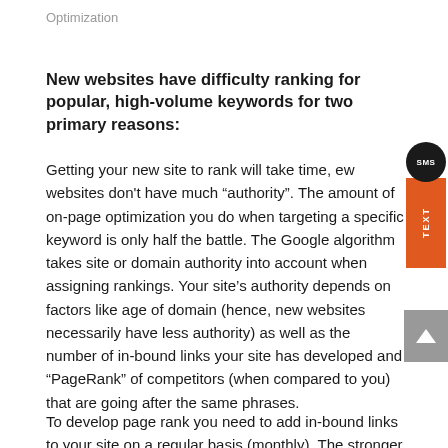Optimization
New websites have difficulty ranking for popular, high-volume keywords for two primary reasons:
Getting your new site to rank will take time, ew websites don't have much “authority”. The amount of on-page optimization you do when targeting a specific keyword is only half the battle. The Google algorithm takes site or domain authority into account when assigning rankings. Your site’s authority depends on factors like age of domain (hence, new websites necessarily have less authority) as well as the number of in-bound links your site has developed and “PageRank” of competitors (when compared to you) that are going after the same phrases.
To develop page rank you need to add in-bound links to your site on a regular basis (monthly). The stronger